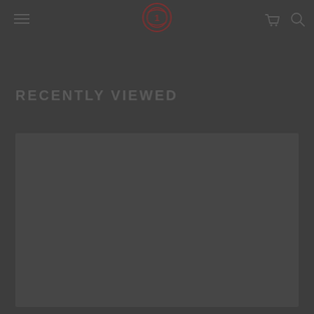RECENTLY VIEWED
[Figure (screenshot): Dark placeholder content area below the Recently Viewed heading, spanning most of the lower portion of the page]